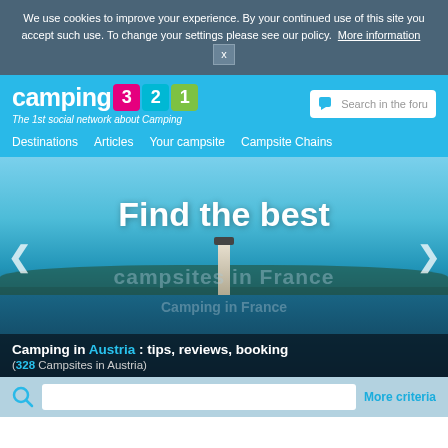We use cookies to improve your experience. By your continued use of this site you accept such use. To change your settings please see our policy. More information  x
[Figure (screenshot): Camping321 website header with logo showing 'camping' text followed by colored boxes with digits 3, 2, 1, tagline 'The 1st social network about Camping', search forum box, and navigation menu: Destinations, Articles, Your campsite, Campsite Chains]
[Figure (photo): Hero banner showing coastal scene with lighthouse, water, and land in background. Large white bold text reads 'Find the best'. Faded background text says 'campsites in France'. Arrow navigation chevrons on left and right sides.]
Camping in Austria : tips, reviews, booking
(328 Campsites in Austria)
More criteria